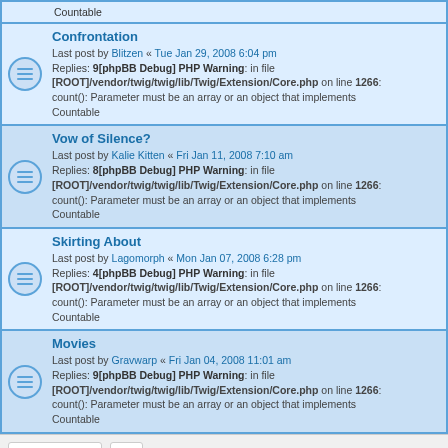Countable
Confrontation
Last post by Blitzen « Tue Jan 29, 2008 6:04 pm
Replies: 9[phpBB Debug] PHP Warning: in file [ROOT]/vendor/twig/twig/lib/Twig/Extension/Core.php on line 1266: count(): Parameter must be an array or an object that implements Countable
Vow of Silence?
Last post by Kalie Kitten « Fri Jan 11, 2008 7:10 am
Replies: 8[phpBB Debug] PHP Warning: in file [ROOT]/vendor/twig/twig/lib/Twig/Extension/Core.php on line 1266: count(): Parameter must be an array or an object that implements Countable
Skirting About
Last post by Lagomorph « Mon Jan 07, 2008 6:28 pm
Replies: 4[phpBB Debug] PHP Warning: in file [ROOT]/vendor/twig/twig/lib/Twig/Extension/Core.php on line 1266: count(): Parameter must be an array or an object that implements Countable
Movies
Last post by Gravwarp « Fri Jan 04, 2008 11:01 am
Replies: 9[phpBB Debug] PHP Warning: in file [ROOT]/vendor/twig/twig/lib/Twig/Extension/Core.php on line 1266: count(): Parameter must be an array or an object that implements Countable
15 topics [phpBB Debug] PHP Warning: in file [ROOT]/vendor/twig/twig/lib/Twig/Extension/Core.php on line 1266: count(): Parameter must be an array or an object that implements Countable • Page 1 of 1